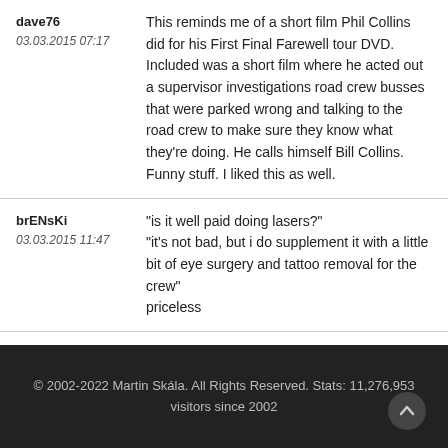dave76
03.03.2015 07:17
This reminds me of a short film Phil Collins did for his First Final Farewell tour DVD. Included was a short film where he acted out a supervisor investigations road crew busses that were parked wrong and talking to the road crew to make sure they know what they're doing. He calls himself Bill Collins. Funny stuff. I liked this as well.
brENsKi
03.03.2015 11:47
"is it well paid doing lasers?"
"it's not bad, but i do supplement it with a little bit of eye surgery and tattoo removal for the crew"
priceless
© 2002-2022 Martin Skála. All Rights Reserved. Stats: 11,276,953 visitors since 2002